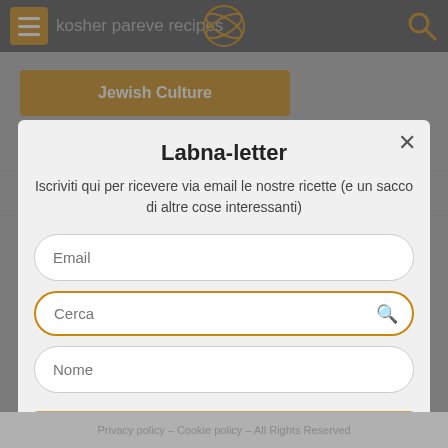kosher pareve recipes
Jewish Culture
Jewish holidays
Shabbat
Kashrut: Jewish dietary laws
Kosher food in Milan
Jewish cookbooks in multiple languages
Labna-letter
Iscriviti qui per ricevere via email le nostre ricette (e un sacco di altre cose interessanti)
Email
Cerca
Nome
ECCO FATTO!
Privacy policy – Cookie policy – All Rights Reserved